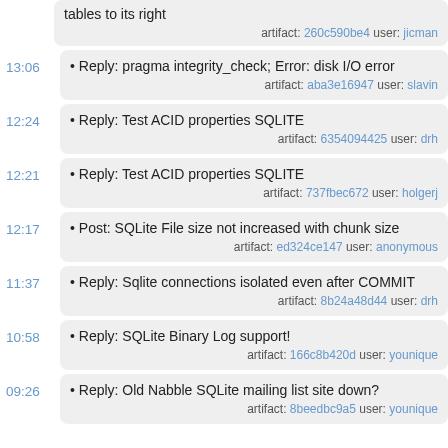tables to its right  artifact: 260c590be4 user: jicman
13:06 • Reply: pragma integrity_check; Error: disk I/O error  artifact: aba3e16947 user: slavin
12:24 • Reply: Test ACID properties SQLITE  artifact: 6354094425 user: drh
12:21 • Reply: Test ACID properties SQLITE  artifact: 737fbec672 user: holgerj
12:17 • Post: SQLite File size not increased with chunk size  artifact: ed324ce147 user: anonymous
11:37 • Reply: Sqlite connections isolated even after COMMIT  artifact: 8b24a48d44 user: drh
10:58 • Reply: SQLite Binary Log support!  artifact: 166c8b420d user: younique
09:26 • Reply: Old Nabble SQLite mailing list site down?  artifact: 8beedbc9a5 user: younique